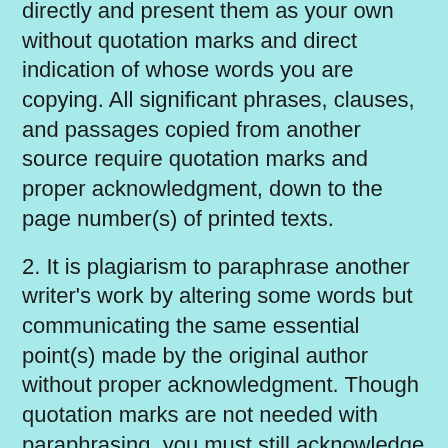directly and present them as your own without quotation marks and direct indication of whose words you are copying.  All significant phrases, clauses, and passages copied from another source require quotation marks and proper acknowledgment, down to the page number(s) of printed texts.
2. It is plagiarism to paraphrase another writer's work by altering some words but communicating the same essential point(s) made by the original author without proper acknowledgment.  Though quotation marks are not needed with paraphrasing, you must still acknowledge the original source directly.
3. Plagiarism includes presenting someone else's ideas or factual discoveries as your own.  If you follow another person's general outline or approach to a topic, presenting another's original thinking or specific conclusions as your own, you must cite the source even if your work is in your own words entirely.  When you present